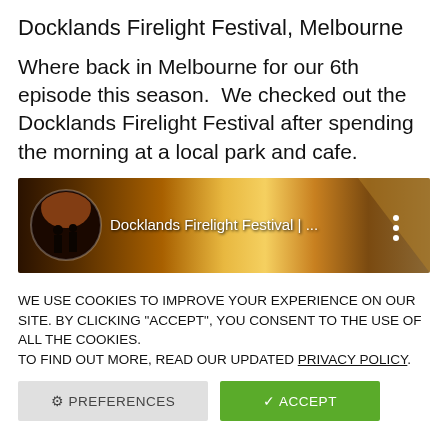Docklands Firelight Festival, Melbourne
Where back in Melbourne for our 6th episode this season.  We checked out the Docklands Firelight Festival after spending the morning at a local park and cafe.
[Figure (screenshot): Video thumbnail showing Docklands Firelight Festival with a circular silhouette image on the left against a warm amber/orange background, text reading 'Docklands Firelight Festival | ...' and a three-dot menu icon on the right.]
WE USE COOKIES TO IMPROVE YOUR EXPERIENCE ON OUR SITE. BY CLICKING “ACCEPT”, YOU CONSENT TO THE USE OF ALL THE COOKIES.
TO FIND OUT MORE, READ OUR UPDATED PRIVACY POLICY.
⚙ PREFERENCES    ✓ ACCEPT